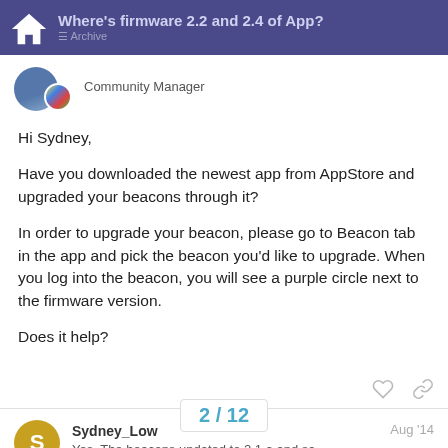Where's firmware 2.2 and 2.4 of App? | Archive
Community Manager
Hi Sydney,
Have you downloaded the newest app from AppStore and upgraded your beacons through it?
In order to upgrade your beacon, please go to Beacon tab in the app and pick the beacon you'd like to upgrade. When you log into the beacon, you will see a purple circle next to the firmware version.
Does it help?
Sydney_Low — Aug '14
Yes. The beacons updated to 2.1 a and sa